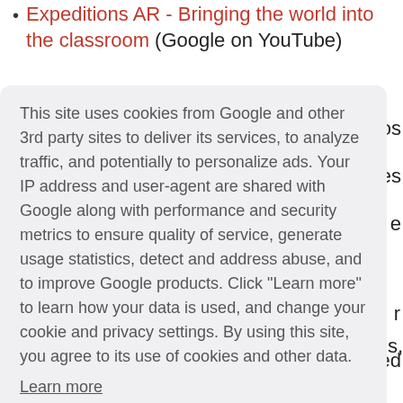Expeditions AR - Bringing the world into the classroom (Google on YouTube)
This site uses cookies from Google and other 3rd party sites to deliver its services, to analyze traffic, and potentially to personalize ads. Your IP address and user-agent are shared with Google along with performance and security metrics to ensure quality of service, generate usage statistics, detect and address abuse, and to improve Google products. Click "Learn more" to learn how your data is used, and change your cookie and privacy settings. By using this site, you agree to its use of cookies and other data.
Learn more
Got it!
watch videos together in VR